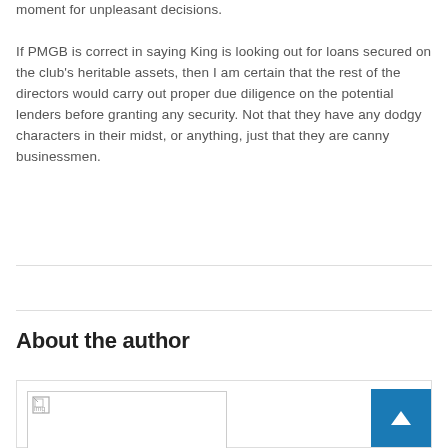moment for unpleasant decisions.
If PMGB is correct in saying King is looking out for loans secured on the club’s heritable assets, then I am certain that the rest of the directors would carry out proper due diligence on the potential lenders before granting any security. Not that they have any dodgy characters in their midst, or anything, just that they are canny businessmen.
About the author
[Figure (photo): Author photo placeholder with broken image icon, and a blue back-to-top button with upward arrow]